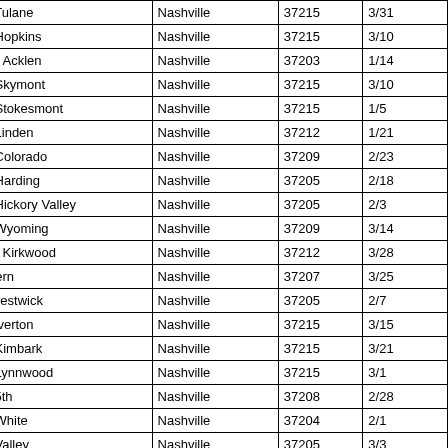| 3800 Tulane | Nashville | 37215 | 3/31 |
| 3518 Hopkins | Nashville | 37215 | 3/10 |
| 920B2 Acklen | Nashville | 37203 | 1/14 |
| 4612 Skymont | Nashville | 37215 | 3/10 |
| 3426 Stokesmont | Nashville | 37215 | 1/5 |
| 1727 Linden | Nashville | 37212 | 1/21 |
| 4013 Colorado | Nashville | 37209 | 2/23 |
| 6400 Harding | Nashville | 37205 | 2/18 |
| 6212 Hickory Valley | Nashville | 37205 | 2/3 |
| 5206 Wyoming | Nashville | 37209 | 3/14 |
| 1519A Kirkwood | Nashville | 37212 | 3/28 |
| 108 Fern | Nashville | 37207 | 3/25 |
| 411 Prestwick | Nashville | 37205 | 2/7 |
| 700 Overton | Nashville | 37215 | 3/15 |
| 1949 Kimbark | Nashville | 37215 | 3/21 |
| 1067 Lynnwood | Nashville | 37215 | 3/1 |
| 1615 5th | Nashville | 37208 | 2/28 |
| 2308 White | Nashville | 37204 | 2/1 |
| 6315 Valley | Nashville | 37205 | 3/3 |
| 2001 Kingsbury | Nashville | 37215 | 3/2 |
| 520 Hobbs Creek | Nashville | 37215 | 1/11 |
| 6040 Jocelyn Hollow | Nashville | 37205 | 1/5 |
| 921A Woodmont | Nashville | 37204 | 3/1 |